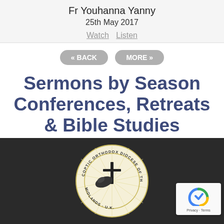Fr Youhanna Yanny
25th May 2017
Watch   Listen
« BACK   MORE »
Sermons by Season Conferences, Retreats & Bible Studies
[Figure (logo): Coptic Orthodox Diocese of the Midlands, UK circular logo with cross and bird imagery on dark background footer]